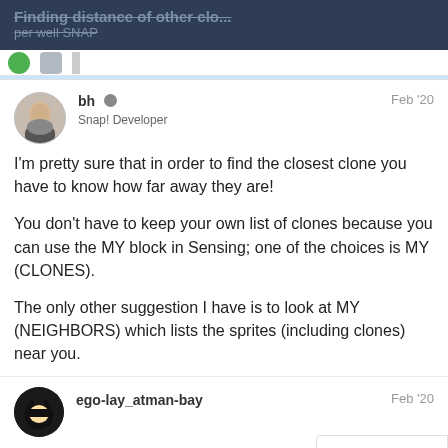Finding distance of other clo... per well snap
bh
Snap! Developer
Feb '20
I'm pretty sure that in order to find the closest clone you have to know how far away they are!

You don't have to keep your own list of clones because you can use the MY block in Sensing; one of the choices is MY (CLONES).

The only other suggestion I have is to look at MY (NEIGHBORS) which lists the sprites (including clones) near you.
ego-lay_atman-bay
Feb '20
1 / 4